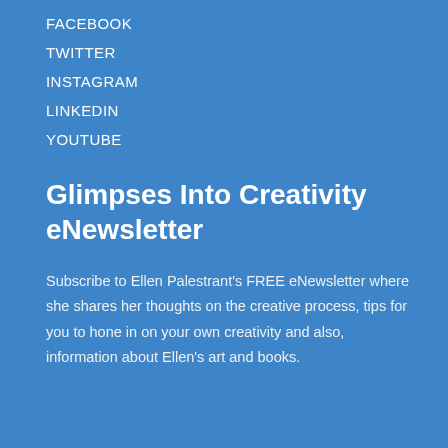FACEBOOK
TWITTER
INSTAGRAM
LINKEDIN
YOUTUBE
Glimpses Into Creativity eNewsletter
Subscribe to Ellen Palestrant's FREE eNewsletter where she shares her thoughts on the creative process, tips for you to hone in on your own creativity and also, information about Ellen's art and books.